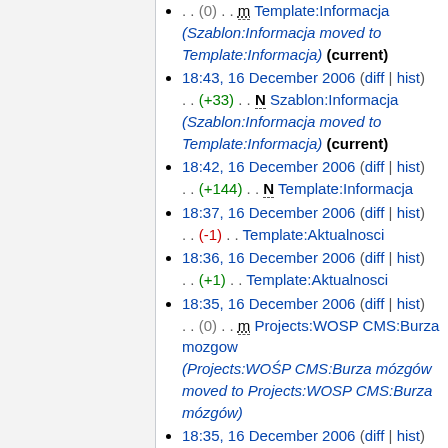. . (0) . . m Template:Informacja (Szablon:Informacja moved to Template:Informacja) (current)
18:43, 16 December 2006 (diff | hist) . . (+33) . . N Szablon:Informacja (Szablon:Informacja moved to Template:Informacja) (current)
18:42, 16 December 2006 (diff | hist) . . (+144) . . N Template:Informacja
18:37, 16 December 2006 (diff | hist) . . (-1) . . Template:Aktualnosci
18:36, 16 December 2006 (diff | hist) . . (+1) . . Template:Aktualnosci
18:35, 16 December 2006 (diff | hist) . . (0) . . m Projects:WOSP CMS:Burza mozgow (Projects:WOŚP CMS:Burza mózgów moved to Projects:WOSP CMS:Burza mózgów)
18:35, 16 December 2006 (diff | hist)